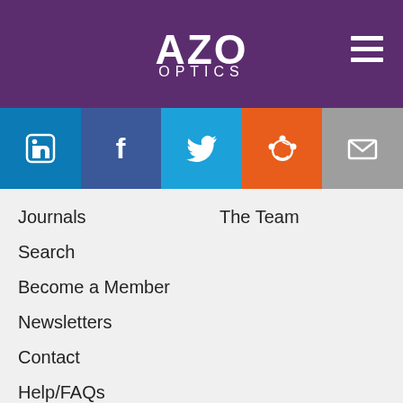AZO OPTICS
[Figure (logo): AZO Optics logo with hamburger menu icon on purple background]
[Figure (infographic): Social media buttons: LinkedIn (blue), Facebook (dark blue), Twitter (light blue), Reddit (orange), Email (gray)]
Journals
The Team
Search
Become a Member
Newsletters
Contact
Help/FAQs
We use cookies to enhance your experience. By continuing to browse this site you agree to our use of cookies. More info.
✓ Accept   Cookie Settings